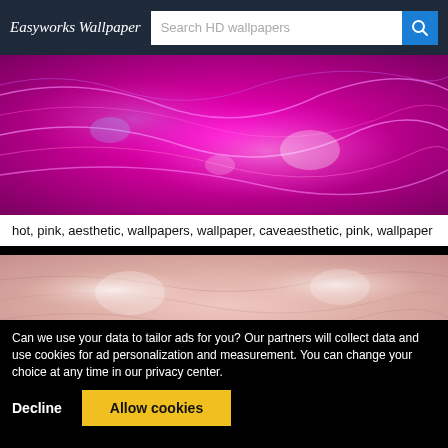Easyworks Wallpaper — Search HD wallpapers
[Figure (photo): Hot pink neon aesthetic wallpaper with glowing ripple patterns on a magenta/purple background with white light highlights]
hot, pink, aesthetic, wallpapers, wallpaper, caveaesthetic, pink, wallpaper
[Figure (photo): Light pink sandy or dusty terrain wallpaper with subtle ripple/wave textures and soft light spots]
Can we use your data to tailor ads for you? Our partners will collect data and use cookies for ad personalization and measurement. You can change your choice at any time in our privacy center.
Decline   Allow cookies